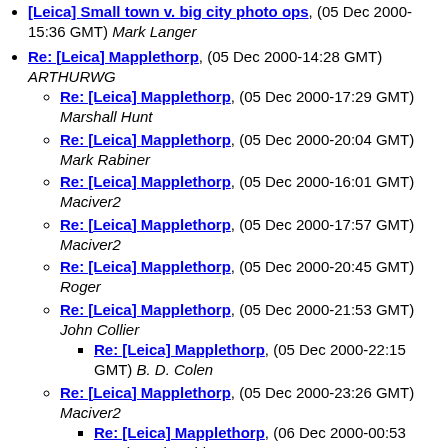[Leica] Small town v. big city photo ops, (05 Dec 2000-15:36 GMT) Mark Langer
Re: [Leica] Mapplethorp, (05 Dec 2000-14:28 GMT) ARTHURWG
Re: [Leica] Mapplethorp, (05 Dec 2000-17:29 GMT) Marshall Hunt
Re: [Leica] Mapplethorp, (05 Dec 2000-20:04 GMT) Mark Rabiner
Re: [Leica] Mapplethorp, (05 Dec 2000-16:01 GMT) Maciver2
Re: [Leica] Mapplethorp, (05 Dec 2000-17:57 GMT) Maciver2
Re: [Leica] Mapplethorp, (05 Dec 2000-20:45 GMT) Roger
Re: [Leica] Mapplethorp, (05 Dec 2000-21:53 GMT) John Collier
Re: [Leica] Mapplethorp, (05 Dec 2000-22:15 GMT) B. D. Colen
Re: [Leica] Mapplethorp, (05 Dec 2000-23:26 GMT) Maciver2
Re: [Leica] Mapplethorp, (06 Dec 2000-00:53 GMT) Mark Rabiner
Re: [Leica] Mapplethorp, (06 Dec 2000-01:29 GMT) ARTHURWG
Re: [Leica] Mapplethorp, (06 Dec 2000-02:04